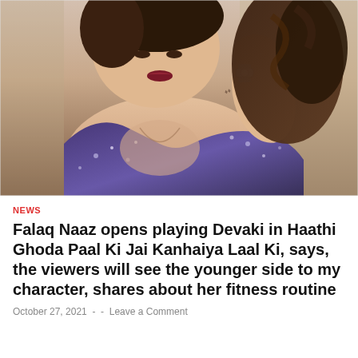[Figure (photo): A woman wearing a sequined outfit posing for a photo, with curly hair and a watch on her wrist.]
NEWS
Falaq Naaz opens playing Devaki in Haathi Ghoda Paal Ki Jai Kanhaiya Laal Ki, says, the viewers will see the younger side to my character, shares about her fitness routine
October 27, 2021  -  -  Leave a Comment